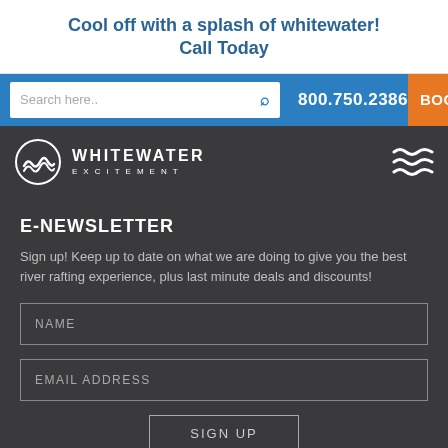Cool off with a splash of whitewater!
Call Today
Search here..  800.750.2386  BOOK RA
[Figure (logo): Whitewater Excitement logo with wave icon and text]
E-NEWSLETTER
Sign up! Keep up to date on what we are doing to give you the best river rafting experience, plus last minute deals and discounts!
NAME (input field)
EMAIL ADDRESS (input field)
SIGN UP
TOP RIVER RAFTING FAQS